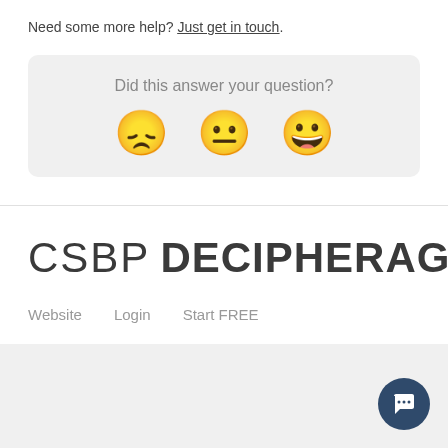Need some more help? Just get in touch.
Did this answer your question?
[Figure (illustration): Three emoji faces: frowning, neutral, and smiling, representing feedback options]
[Figure (logo): CSBP DECIPHERAG logo with thin and bold text]
Website   Login   Start FREE